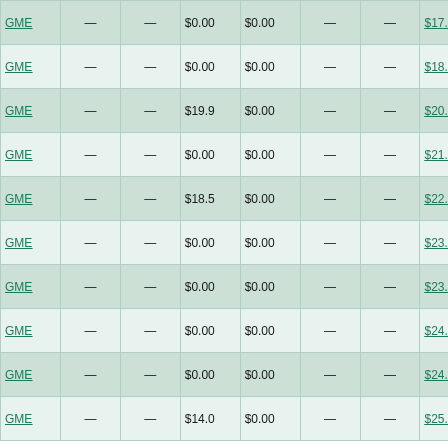| Ticker | — | — | Strike | $0.00 | — | — | Link | Ticker | — | — | Bid | $0.00 | — | Volume |
| --- | --- | --- | --- | --- | --- | --- | --- | --- | --- | --- | --- | --- | --- | --- |
| GME | — | — | $0.00 | $0.00 | — | — | $17.5 | GME | — | — | $0.04 | $0.00 | — | 1,357 |
| GME | — | — | $0.00 | $0.00 | — | — | $18.7 | GME | — | — | $0.03 | $0.00 | — | 1,039 |
| GME | — | — | $19.9 | $0.00 | — | — | $20.0 | GME | — | — | $0.02 | $0.00 | — | 2,595 |
| GME | — | — | $0.00 | $0.00 | — | — | $21.2 | GME | — | — | $0.03 | $0.00 | — | 420 |
| GME | — | — | $18.5 | $0.00 | — | — | $22.5 | GME | — | — | $0.05 | $0.00 | — | 905 |
| GME | — | — | $0.00 | $0.00 | — | — | $23.0 | GME | — | — | $0.03 | $0.00 | — | 1,576 |
| GME | — | — | $0.00 | $0.00 | — | — | $23.7 | GME | — | — | $0.03 | $0.00 | — | 897 |
| GME | — | — | $0.00 | $0.00 | — | — | $24.0 | GME | — | — | $0.04 | $0.00 | — | 308 |
| GME | — | — | $0.00 | $0.00 | — | — | $24.5 | GME | — | — | $0.07 | $0.00 | — | 8 |
| GME | — | — | $14.0 | $0.00 | — | — | $25.0 | GME | — | — | $0.06 | $0.00 | — | 4,150 |